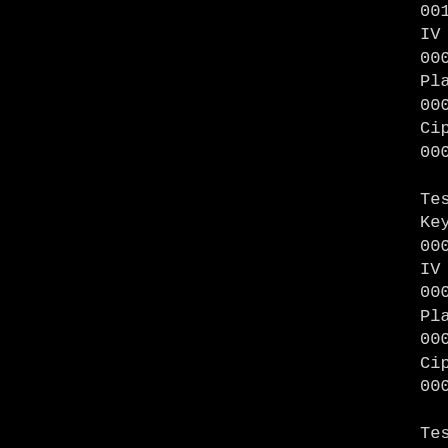0010 1f 35 2c 07 3b 61 08
IV
0000 41 63 5b e6 25 b4 8a
Plaintext
0000 f6 9f 24 45 df 4f 9b
Ciphertext
0000 01 26 14 1d 67 f3 7b
Testing cipher AES-128-CTR
Key
0000 ae 68 52 f8 12 10 67
IV
0000 00 00 00 30 00 00 00
Plaintext
0000 53 69 6e 67 6c 65 20
Ciphertext
0000 e4 09 5d 4f b7 a7 b3
Testing cipher AES-128-CTR
Key
0000 7e 24 06 78 17 fa e0
IV
0000 00 6c b6 db c0 54 3b
Plaintext